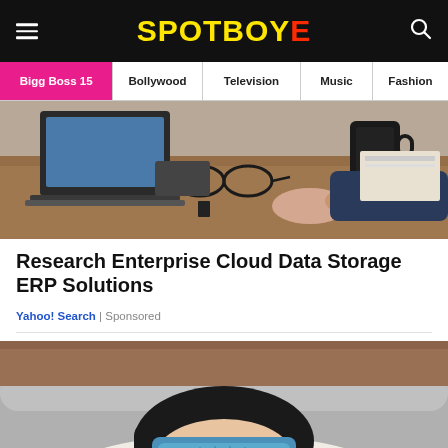SPOTBOYE
Bigg Boss 15 | Bollywood | Television | Music | Fashion
[Figure (photo): Person working at a desk with a laptop and coffee mug, viewed from above]
Research Enterprise Cloud Data Storage ERP Solutions
Yahoo! Search | Sponsored
[Figure (photo): Woman lying on a sofa with a blue cold pack over her eyes]